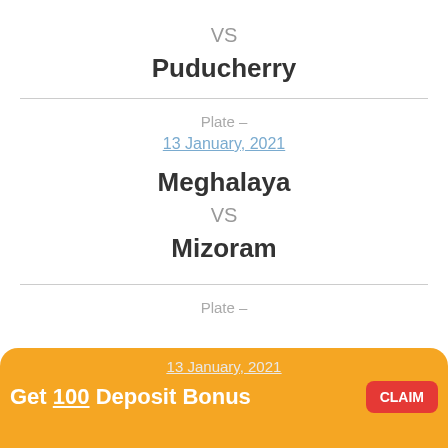VS
Puducherry
Plate –
13 January, 2021
Meghalaya
VS
Mizoram
Plate –
Get 100 Deposit Bonus